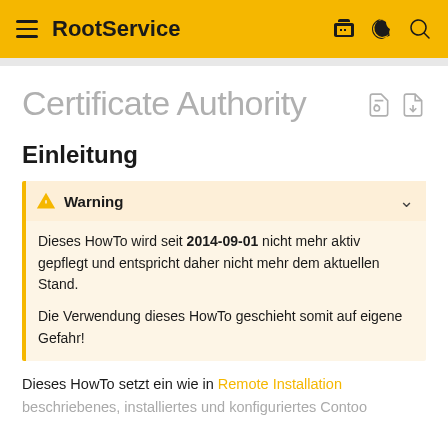RootService
Certificate Authority
Einleitung
Warning
Dieses HowTo wird seit 2014-09-01 nicht mehr aktiv gepflegt und entspricht daher nicht mehr dem aktuellen Stand.
Die Verwendung dieses HowTo geschieht somit auf eigene Gefahr!
Dieses HowTo setzt ein wie in Remote Installation beschriebenes, installiertes und konfiguriertes Contoo